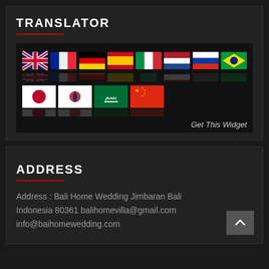TRANSLATOR
[Figure (infographic): Translator widget showing flag icons for UK, France, Germany, Spain, Italy, Netherlands, Russia, Brazil, Japan, South Korea, Saudi Arabia, China. 'Get This Widget' link at bottom right.]
ADDRESS
Address : Bali Home Wedding Jimbaran Bali Indonesia 80361 balihomevilla@gmail.com info@baihomewedding.com